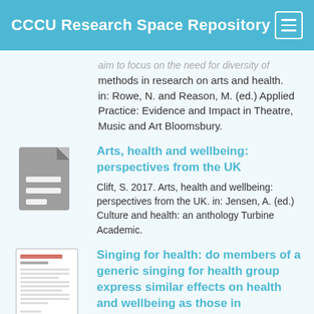CCCU Research Space Repository
aim to focus on the need for diversity of methods in research on arts and health. in: Rowe, N. and Reason, M. (ed.) Applied Practice: Evidence and Impact in Theatre, Music and Art Bloomsbury.
Arts, health and wellbeing: perspectives from the UK
Clift, S. 2017. Arts, health and wellbeing: perspectives from the UK. in: Jensen, A. (ed.) Culture and health: an anthology Turbine Academic.
Singing for health: do members of a generic singing for health group express similar effects on health and wellbeing as those in